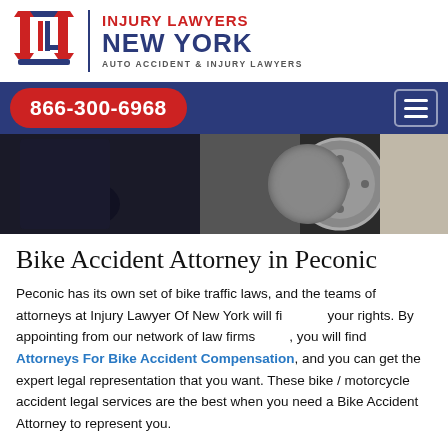[Figure (logo): Injury Lawyers New York logo with IL monogram, columns icon, divider, and text 'INJURY LAWYERS NEW YORK - AUTO ACCIDENT & INJURY LAWYERS']
866-300-6968
[Figure (photo): Hero photograph showing a person in dark clothing near a motorcycle wheel/tire]
Bike Accident Attorney in Peconic
Peconic has its own set of bike traffic laws, and the teams of attorneys at Injury Lawyer Of New York will fight your rights. By appointing from our network of law firms, you will find Attorneys For Bike Accident Compensation, and you can get the expert legal representation that you want. These bike / motorcycle accident legal services are the best when you need a Bike Accident Attorney to represent you.